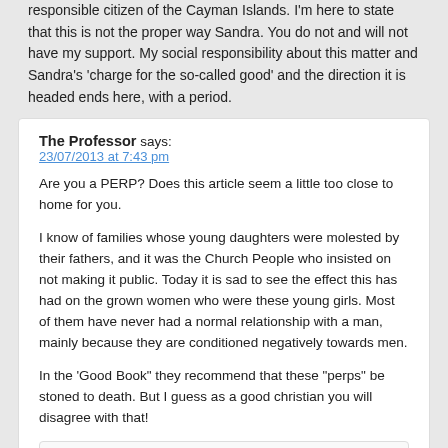responsible citizen of the Cayman Islands. I'm here to state that this is not the proper way Sandra. You do not and will not have my support. My social responsibility about this matter and Sandra's 'charge for the so-called good' and the direction it is headed ends here, with a period.
The Professor says:
23/07/2013 at 7:43 pm
Are you a PERP?  Does this article seem a little too close to home for you.
I know of families whose young daughters were molested by their fathers,  and it was the Church People who insisted on not making it public. Today it is sad to see the effect this has had on the grown women who were these young girls. Most  of them have never had a normal relationship with a man, mainly because they are conditioned negatively towards men.
In the 'Good Book" they recommend that these "perps" be stoned to death.  But  I guess as a good christian you will disagree with that!
Hercules says:
24/07/2013 at 3:30 am
I didn't see where the poster 'Power Trip' mentioned the "Good Book"/...